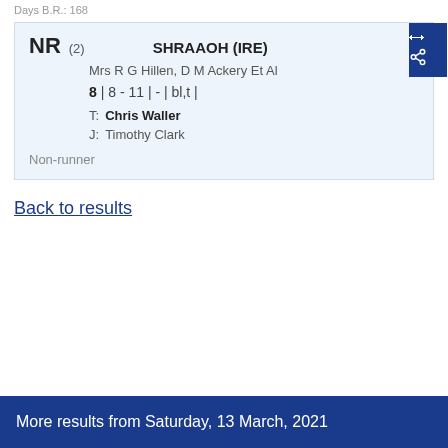Days B.R.: 168
NR (2)  SHRAAOH (IRE)
Mrs R G Hillen, D M Ackery Et Al
8 | 8 - 11 | - | bl,t |
T: Chris Waller
J: Timothy Clark
Non-runner
Back to results
More results from Saturday, 13 March, 2021